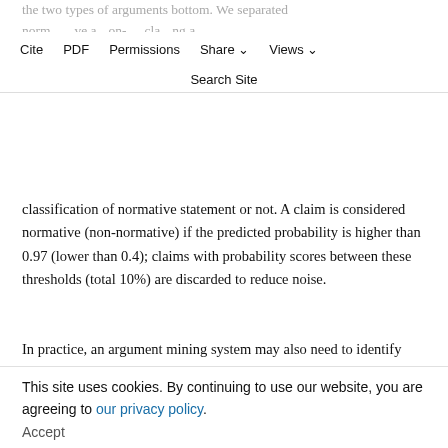the two types of arguments bottom. We separated normative and non-normative claims using a classifier trained on Jo et al.'s (2020) dataset of different types of statements (AUC=98.8%), as binary classification of normative statement or not. A claim is considered normative (non-normative) if the predicted probability is higher than 0.97 (lower than 0.4); claims with probability scores between these thresholds (total 10%) are discarded to reduce noise.
In practice, an argument mining system may also need to identify statements that seem related but do not form any argument. Hence, we add the same number of "neutral arguments" by pairing random statements within the same topic. To avoid pairs of statements forming a reasonable argument accidentally, we constrain that they be at least 9 statements apart in the